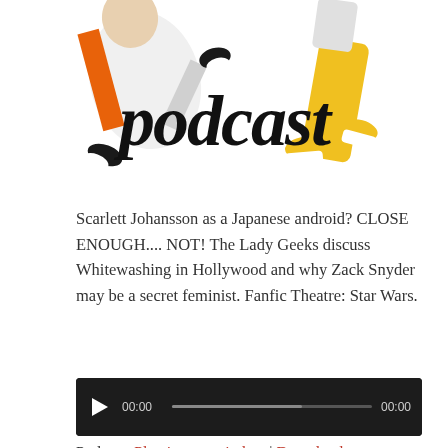[Figure (illustration): Podcast logo image showing two people in colorful outfits (orange and yellow) with the word 'podcast' in large handwritten-style black letters overlaid]
Scarlett Johansson as a Japanese android? CLOSE ENOUGH.... NOT! The Lady Geeks discuss Whitewashing in Hollywood and why Zack Snyder may be a secret feminist. Fanfic Theatre: Star Wars.
[Figure (screenshot): Audio player widget with dark background, play button, time displays showing 00:00 on both sides, and a progress bar]
Podcast: Play in new window | Download (61.2MB)
Subscribe: Apple Podcasts | RSS